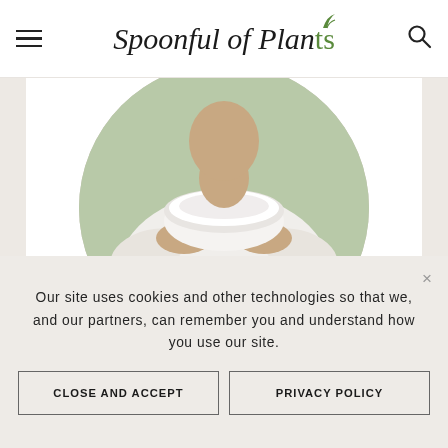Spoonful of Plants — navigation header with hamburger menu and search icon
[Figure (photo): Person in white sweater holding a white bowl, shown in a circular crop on a white card background]
Our site uses cookies and other technologies so that we, and our partners, can remember you and understand how you use our site.
CLOSE AND ACCEPT
PRIVACY POLICY